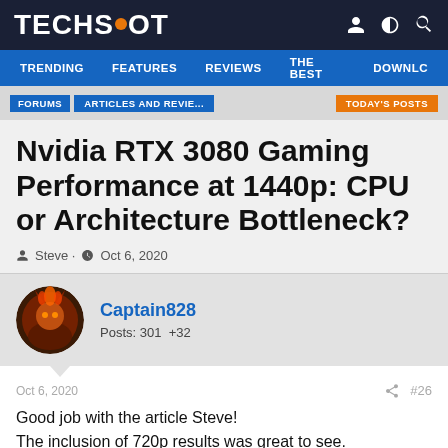TECHSPOT
TRENDING | FEATURES | REVIEWS | THE BEST | DOWNLC
FORUMS | ARTICLES AND REVIE... | TODAY'S POSTS
Nvidia RTX 3080 Gaming Performance at 1440p: CPU or Architecture Bottleneck?
Steve · Oct 6, 2020
Captain828
Posts: 301  +32
Oct 6, 2020  #26
Good job with the article Steve!
The inclusion of 720p results was great to see.